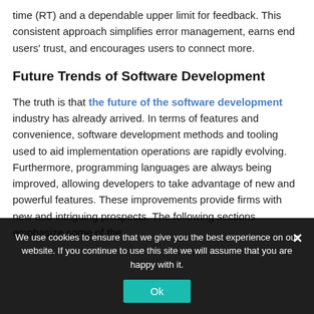time (RT) and a dependable upper limit for feedback. This consistent approach simplifies error management, earns end users' trust, and encourages users to connect more.
Future Trends of Software Development
The truth is that the future of the software development industry has already arrived. In terms of features and convenience, software development methods and tooling used to aid implementation operations are rapidly evolving. Furthermore, programming languages are always being improved, allowing developers to take advantage of new and powerful features. These improvements provide firms with new and intriguing prospects. The following sections emphasize some of the...
We use cookies to ensure that we give you the best experience on our website. If you continue to use this site we will assume that you are happy with it.